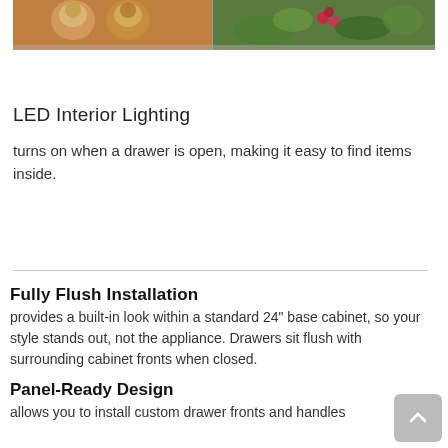[Figure (photo): Top portion of a food/beverage display with drinks and colorful salad ingredients visible in refrigerator drawers]
LED Interior Lighting
turns on when a drawer is open, making it easy to find items inside.
Fully Flush Installation
provides a built-in look within a standard 24" base cabinet, so your style stands out, not the appliance. Drawers sit flush with surrounding cabinet fronts when closed.
Panel-Ready Design
allows you to install custom drawer fronts and handles